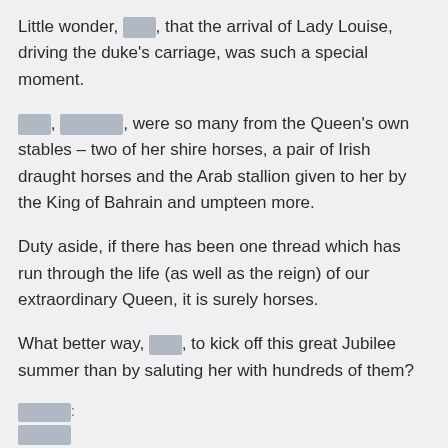Little wonder, ███, that the arrival of Lady Louise, driving the duke's carriage, was such a special moment.
███, ██████, were so many from the Queen's own stables – two of her shire horses, a pair of Irish draught horses and the Arab stallion given to her by the King of Bahrain and umpteen more.
Duty aside, if there has been one thread which has run through the life (as well as the reign) of our extraordinary Queen, it is surely horses.
What better way, ███, to kick off this great Jubilee summer than by saluting her with hundreds of them?
█████:
█████
██:
██████, gallop, HARDMAN, joyous, ██████, █████, ████████, ███